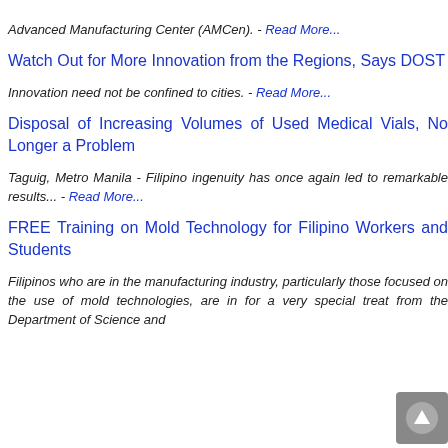Advanced Manufacturing Center (AMCen). - Read More...
Watch Out for More Innovation from the Regions, Says DOST
Innovation need not be confined to cities. - Read More...
Disposal of Increasing Volumes of Used Medical Vials, No Longer a Problem
Taguig, Metro Manila - Filipino ingenuity has once again led to remarkable results... - Read More...
FREE Training on Mold Technology for Filipino Workers and Students
Filipinos who are in the manufacturing industry, particularly those focused on the use of mold technologies, are in for a very special treat from the Department of Science and